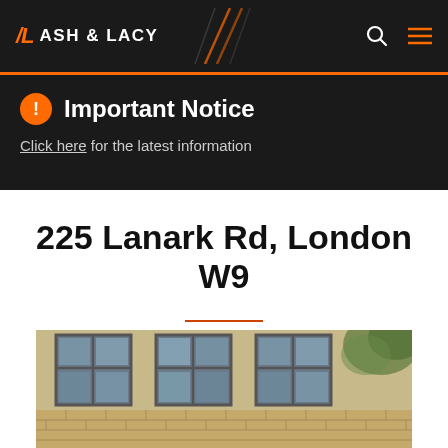ASH & LACY
Important Notice
Click here for the latest information
225 Lanark Rd, London W9
Posted on 04/09/2020
[Figure (photo): Exterior photograph of a brick building with grey-framed windows at 225 Lanark Rd, London W9]